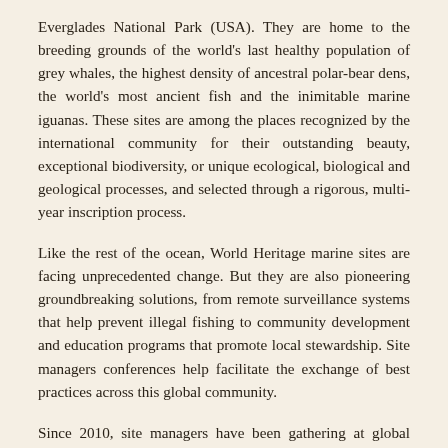Everglades National Park (USA). They are home to the breeding grounds of the world's last healthy population of grey whales, the highest density of ancestral polar-bear dens, the world's most ancient fish and the inimitable marine iguanas. These sites are among the places recognized by the international community for their outstanding beauty, exceptional biodiversity, or unique ecological, biological and geological processes, and selected through a rigorous, multi-year inscription process.
Like the rest of the ocean, World Heritage marine sites are facing unprecedented change. But they are also pioneering groundbreaking solutions, from remote surveillance systems that help prevent illegal fishing to community development and education programs that promote local stewardship. Site managers conferences help facilitate the exchange of best practices across this global community.
Since 2010, site managers have been gathering at global conferences every three years, first in Hawaii and later in Corsica in 2013. In between conferences, the World Heritage Centre helps to support collaboration among sites with biodiversity connectivity—like Wadden Sea